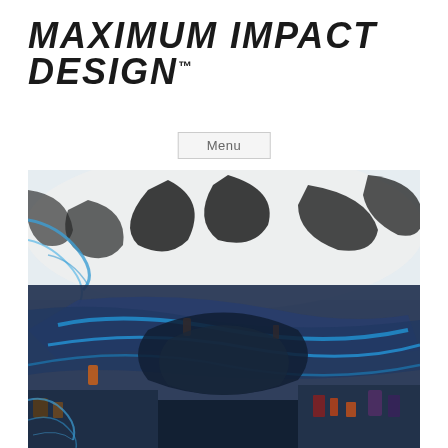[Figure (logo): Maximum Impact Design logo in bold italic black uppercase text with TM superscript]
Menu
[Figure (photo): Close-up blurred photo of motorsport vehicle or motorcycle with black and white graphic design elements on the body, blue and teal accents, and mechanical parts visible]